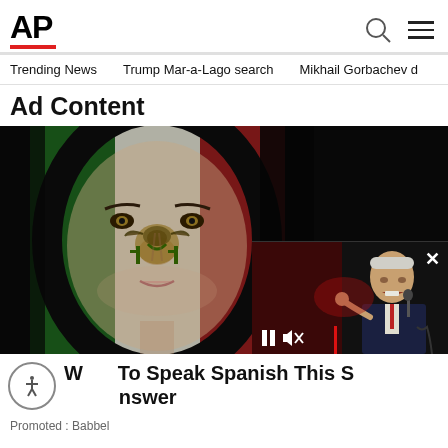AP
Trending News   Trump Mar-a-Lago search   Mikhail Gorbachev d
Ad Content
[Figure (photo): Woman with face painted as the Mexican flag (green, white, red vertical stripes with eagle emblem in center), against dark background. Overlapping video player showing Biden speaking, with playback controls and close button.]
Want To Speak Spanish This S… …nswer
Promoted : Babbel